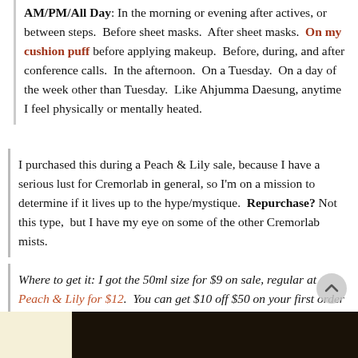AM/PM/All Day: In the morning or evening after actives, or between steps. Before sheet masks. After sheet masks. On my cushion puff before applying makeup. Before, during, and after conference calls. In the afternoon. On a Tuesday. On a day of the week other than Tuesday. Like Ahjumma Daesung, anytime I feel physically or mentally heated.
I purchased this during a Peach & Lily sale, because I have a serious lust for Cremorlab in general, so I'm on a mission to determine if it lives up to the hype/mystique. Repurchase? Not this type, but I have my eye on some of the other Cremorlab mists.
Where to get it: I got the 50ml size for $9 on sale, regular at Peach & Lily for $12. You can get $10 off $50 on your first order with this link. There is a full 300ml size available on ebay for $40, but I'd start with the small size to sample before investing in a full size.
[Figure (photo): Bottom strip showing partial image: left portion is light cream/yellow background, right portion is dark scene with figure]